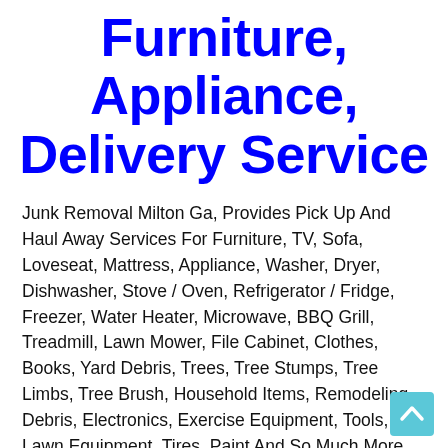Furniture, Appliance, Delivery Service
Junk Removal Milton Ga, Provides Pick Up And Haul Away Services For Furniture, TV, Sofa, Loveseat, Mattress, Appliance, Washer, Dryer, Dishwasher, Stove / Oven, Refrigerator / Fridge, Freezer, Water Heater, Microwave, BBQ Grill, Treadmill, Lawn Mower, File Cabinet, Clothes, Books, Yard Debris, Trees, Tree Stumps, Tree Limbs, Tree Brush, Household Items, Remodeling Debris, Electronics, Exercise Equipment, Tools, Lawn Equipment, Tires, Paint And So Much More. We Also Do Garage, Basement, Attics, Storage, And Office Clean-Outs. Junk Hauling, Appliance Pick Up, Waste Disposal, Rubbish Discard, Garbage Collection, TV Haulers, Debris Clean Up, Recycling Program. Whether You've Got A Few Bags Or A Major Junk Removal